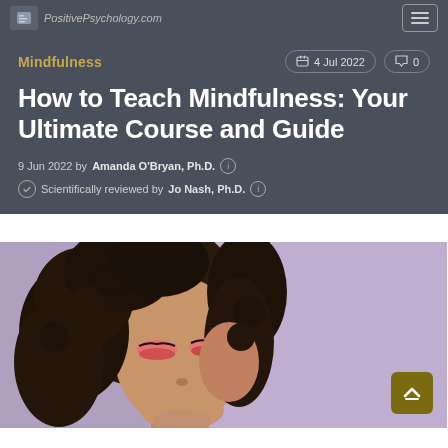PositivePsychology.com
Mindfulness
4 Jul 2022  0
How to Teach Mindfulness: Your Ultimate Course and Guide
9 Jun 2022 by Amanda O'Bryan, Ph.D.
Scientifically reviewed by Jo Nash, Ph.D.
[Figure (photo): A young woman with curly hair and closed eyes wearing pink/rose eyeshadow, touching her face, photographed against a purple/lavender background]